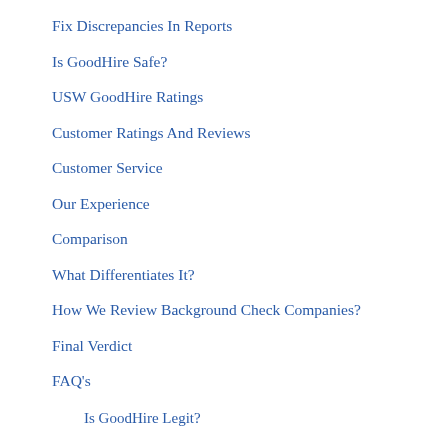Fix Discrepancies In Reports
Is GoodHire Safe?
USW GoodHire Ratings
Customer Ratings And Reviews
Customer Service
Our Experience
Comparison
What Differentiates It?
How We Review Background Check Companies?
Final Verdict
FAQ's
Is GoodHire Legit?
How long will it take for my background check to complete?
Where do I go for my drug screening?